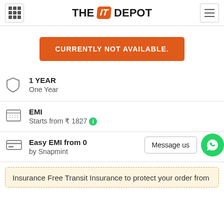THE IT DEPOT
CURRENTLY NOT AVAILABLE.
1 YEAR
One Year
EMI
Starts from ₹ 1827
Easy EMI from 0
by Snapmint
Message us
Insurance Free Transit Insurance to protect your order from